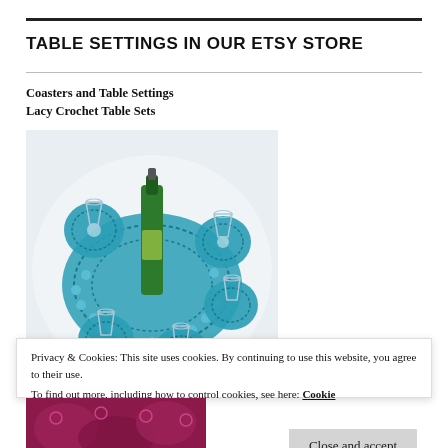TABLE SETTINGS IN OUR ETSY STORE
Coasters and Table Settings
Lacy Crochet Table Sets
[Figure (photo): Teal/turquoise lacy crochet table set with a large oval placemat, several round coasters, a green wine bottle in the center, and clear wine glasses arranged on a white tablecloth.]
Privacy & Cookies: This site uses cookies. By continuing to use this website, you agree to their use.
To find out more, including how to control cookies, see here: Cookie Policy
Close and accept